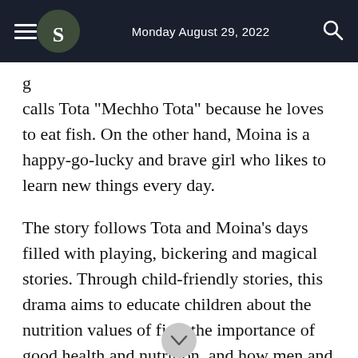Monday August 29, 2022
calls Tota "Mechho Tota" because he loves to eat fish. On the other hand, Moina is a happy-go-lucky and brave girl who likes to learn new things every day.
The story follows Tota and Moina's days filled with playing, bickering and magical stories. Through child-friendly stories, this drama aims to educate children about the nutrition values of fish, the importance of good health and nutrition, and how men and women can work side by side.
The drama is directed by Soumya Nazrul. The story and screenplay was wri... Manirul Islam Rubel